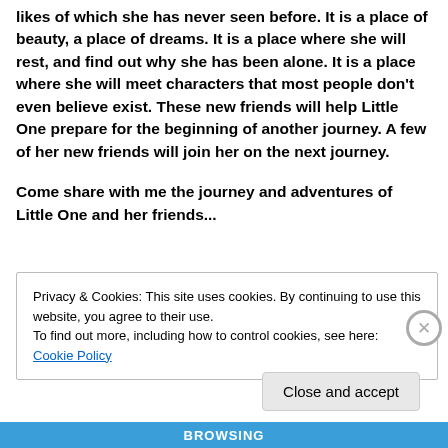likes of which she has never seen before.  It is a place of beauty, a place of dreams.  It is a place where she will rest, and find out why she has been alone.  It is a place where she will meet characters that most people don't even believe exist.  These new friends will help Little One prepare for the beginning of another journey.  A few of her new friends will join her on the next journey.
Come share with me the journey and adventures of Little One and her friends...
Privacy & Cookies: This site uses cookies. By continuing to use this website, you agree to their use.
To find out more, including how to control cookies, see here: Cookie Policy